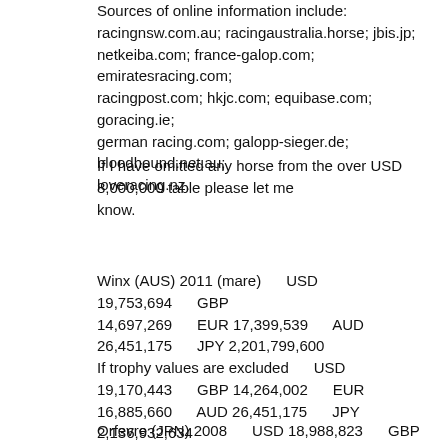Sources of online information include: racingnsw.com.au; racingaustralia.horse; jbis.jp; netkeiba.com; france-galop.com; emiratesracing.com; racingpost.com; hkjc.com; equibase.com; goracing.ie; german racing.com; galopp-sieger.de; bloodhound.net.au; loveracing.nz.
If I have omitted any horse from the over USD 8,000,000 table please let me know.
Winx (AUS) 2011 (mare)      USD 19,753,694      GBP 14,697,269      EUR 17,399,539      AUD 26,451,175      JPY 2,201,799,600 If trophy values are excluded      USD 19,170,443      GBP 14,264,002      EUR 16,885,660      AUD 26,451,175      JPY 2,136,932,634 (Career Record: Australia: Starts: 43: 37-3-0-3 for AUD 26,451,175)
Orfevre (JPN) 2008      USD 18,988,823      GBP